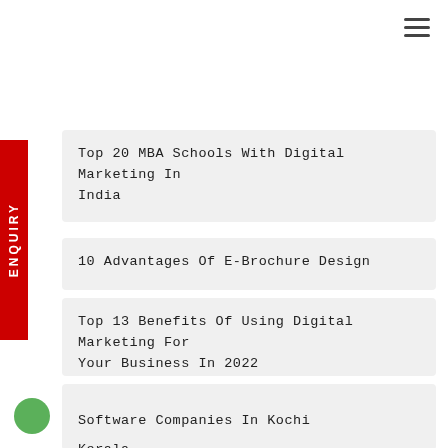Top 20 MBA Schools With Digital Marketing In India
10 Advantages Of E-Brochure Design
Top 13 Benefits Of Using Digital Marketing For Your Business In 2022
Best Digital Marketing Courses In Kochi, Kerala
Software Companies In Kochi